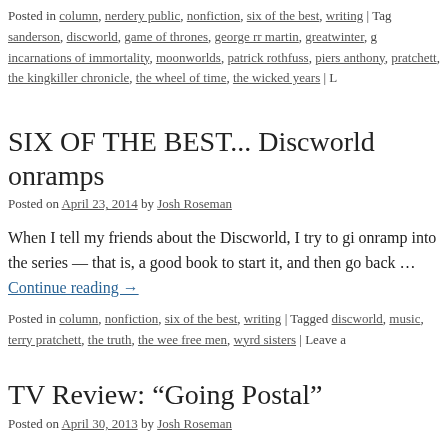Posted in column, nerdery public, nonfiction, six of the best, writing | Tags: sanderson, discworld, game of thrones, george rr martin, greatwinter, incarnations of immortality, moonworlds, patrick rothfuss, piers anthony, pratchett, the kingkiller chronicle, the wheel of time, the wicked years | L
SIX OF THE BEST... Discworld onramps
Posted on April 23, 2014 by Josh Roseman
When I tell my friends about the Discworld, I try to give them an onramp into the series — that is, a good book to start with, read it, and then go back ... Continue reading →
Posted in column, nonfiction, six of the best, writing | Tagged discworld, music, terry pratchett, the truth, the wee free men, wyrd sisters | Leave a
TV Review: “Going Postal”
Posted on April 30, 2013 by Josh Roseman
I have written a review of the TV miniseries version of Going Postal. Read it here. TV Review: “Going Postal”